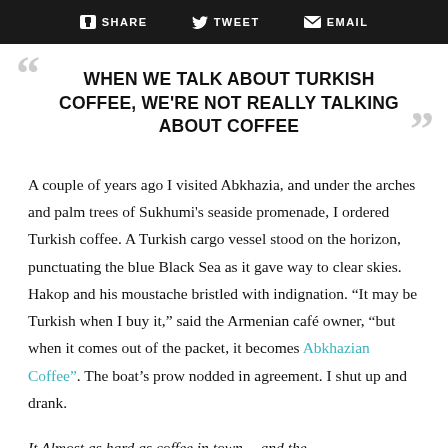SHARE   TWEET   EMAIL
WHEN WE TALK ABOUT TURKISH COFFEE, WE'RE NOT REALLY TALKING ABOUT COFFEE
A couple of years ago I visited Abkhazia, and under the arches and palm trees of Sukhumi's seaside promenade, I ordered Turkish coffee. A Turkish cargo vessel stood on the horizon, punctuating the blue Black Sea as it gave way to clear skies. Hakop and his moustache bristled with indignation. “It may be Turkish when I buy it,” said the Armenian café owner, “but when it comes out of the packet, it becomes Abkhazian Coffee”. The boat’s prow nodded in agreement. I shut up and drank.
It Almost as hard as coffee in town… and the